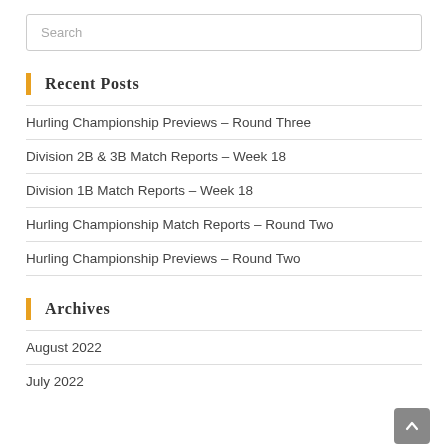Search
Recent Posts
Hurling Championship Previews – Round Three
Division 2B & 3B Match Reports – Week 18
Division 1B Match Reports – Week 18
Hurling Championship Match Reports – Round Two
Hurling Championship Previews – Round Two
Archives
August 2022
July 2022